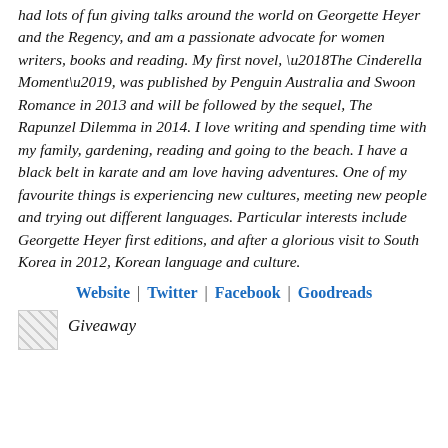had lots of fun giving talks around the world on Georgette Heyer and the Regency, and am a passionate advocate for women writers, books and reading. My first novel, ‘The Cinderella Moment’, was published by Penguin Australia and Swoon Romance in 2013 and will be followed by the sequel, The Rapunzel Dilemma in 2014. I love writing and spending time with my family, gardening, reading and going to the beach. I have a black belt in karate and am love having adventures. One of my favourite things is experiencing new cultures, meeting new people and trying out different languages. Particular interests include Georgette Heyer first editions, and after a glorious visit to South Korea in 2012, Korean language and culture.
Website | Twitter | Facebook | Goodreads
[Figure (other): Small broken image icon placeholder]
Giveaway